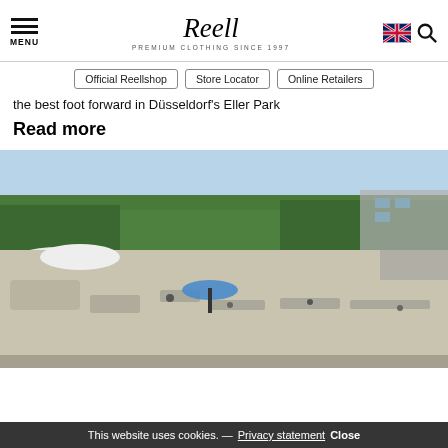MENU | Reell PREMIUM CLOTHING SINCE 1997 | [UK flag] [Search]
Official Reellshop
Store Locator
Online Retailers
the best foot forward in Düsseldorf's Eller Park
Read more
[Figure (photo): Aerial view of a skate park in a park setting, with skaters on a large concrete surface surrounded by trees and buildings, sunny day.]
This website uses cookies. — Privacy statement Close